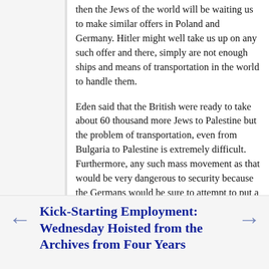then the Jews of the world will be waiting us to make similar offers in Poland and Germany. Hitler might well take us up on any such offer and there, simply are not enough ships and means of transportation in the world to handle them.
Eden said that the British were ready to take about 60 thousand more Jews to Palestine but the problem of transportation, even from Bulgaria to Palestine is extremely difficult. Furthermore, any such mass movement as that would be very dangerous to security because the Germans would be sure to attempt to put a number of their agents in the group. They have been pretty successful with this technique, both in getting their agents into North and South America.
Continue reading "Liveblogging World War II: March 27, 1943" »
March 27, 2013 at 03:58 | Permalink | Comments (15)
Kick-Starting Employment: Wednesday Hoisted from the Archives from Four Years